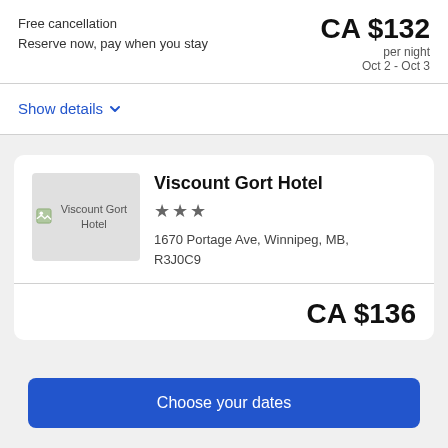Free cancellation
Reserve now, pay when you stay
CA $132
per night
Oct 2 - Oct 3
Show details
[Figure (photo): Hotel thumbnail image placeholder for Viscount Gort Hotel]
Viscount Gort Hotel
★★★
1670 Portage Ave, Winnipeg, MB, R3J0C9
CA $136
Choose your dates